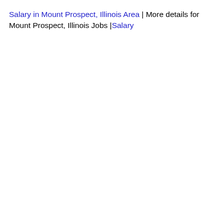Salary in Mount Prospect, Illinois Area | More details for Mount Prospect, Illinois Jobs |Salary